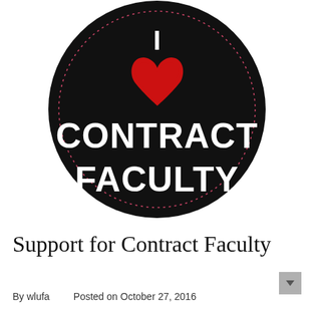[Figure (illustration): A circular black button/badge with a dotted pink border circle inside. Text reads 'I' at the top in white, followed by a red heart symbol, then 'CONTRACT FACULTY' in large bold white uppercase letters.]
Support for Contract Faculty
By wlufa   Posted on October 27, 2016